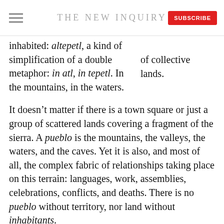THE NEW INQUIRY
inhabited: altepetl, a kind of simplification of a double metaphor: in atl, in tepetl. In the mountains, in the waters.
of collective lands.
It doesn’t matter if there is a town square or just a group of scattered lands covering a fragment of the sierra. A pueblo is the mountains, the valleys, the waters, and the caves. Yet it is also, and most of all, the complex fabric of relationships taking place on this terrain: languages, work, assemblies, celebrations, conflicts, and deaths. There is no pueblo without territory, nor land without inhabitants.
Although they share a geographical position, a